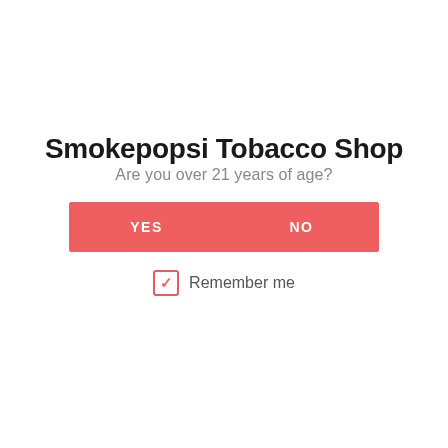Smokepopsi Tobacco Shop
Are you over 21 years of age?
[Figure (other): Age verification dialog with YES and NO buttons on a red background, and a checked 'Remember me' checkbox below]
Remember me